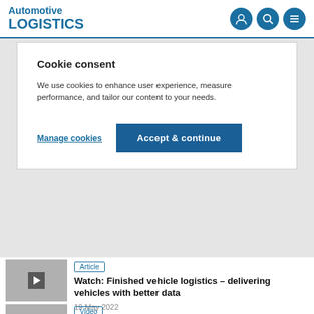Automotive LOGISTICS
Cookie consent
We use cookies to enhance user experience, measure performance, and tailor our content to your needs.
Manage cookies | Accept & continue
Article
Watch: Finished vehicle logistics – delivering vehicles with better data
19 May 2022
Video
Watch: The supply chain heroes of net carbon zero